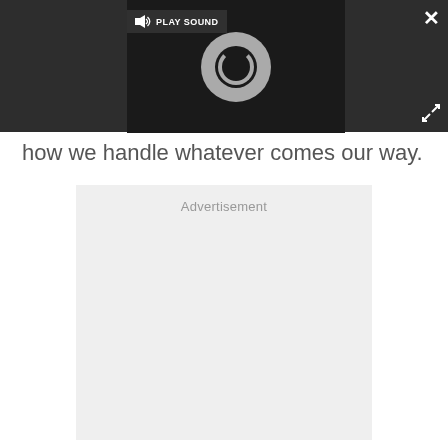[Figure (screenshot): Video player embedded in dark overlay bar. Shows a loading spinner (circular arc) in center, pause button (||) at bottom left, a 'PLAY SOUND' button with speaker icon at top, a close (X) button at top right, and an expand/fullscreen icon at bottom right. Background is dark (#2d2d2d) with a black video area.]
how we handle whatever comes our way.
Advertisement